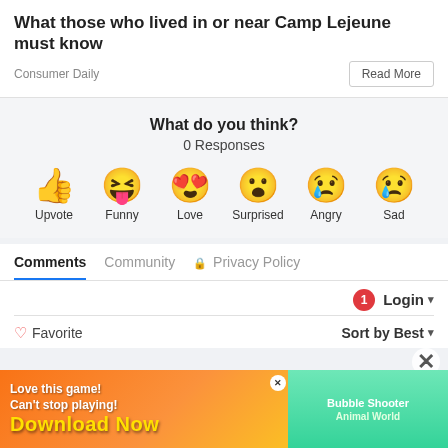What those who lived in or near Camp Lejeune must know
Consumer Daily
Read More
What do you think?
0 Responses
[Figure (infographic): Six emoji reaction buttons: Upvote (thumbs up), Funny (laughing face), Love (heart eyes), Surprised (wide eyes), Angry (sad with mask), Sad (crying face)]
Comments	Community	 Privacy Policy
Login ▾
♡ Favorite
Sort by Best ▾
[Figure (photo): Mobile game advertisement banner: 'Love this game! Can't stop playing! Download Now' with Bubble Shooter Animal World game imagery]